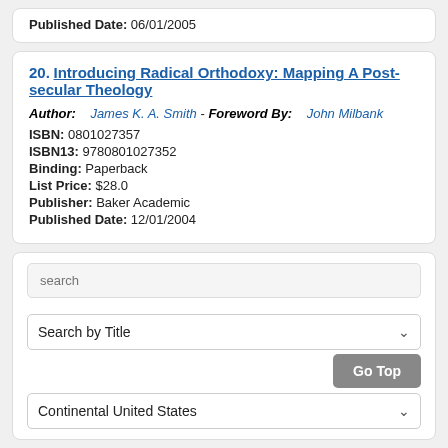Published Date: 06/01/2005
20. Introducing Radical Orthodoxy: Mapping A Post-secular Theology
Author: James K. A. Smith - Foreword By: John Milbank
ISBN: 0801027357
ISBN13: 9780801027352
Binding: Paperback
List Price: $28.0
Publisher: Baker Academic
Published Date: 12/01/2004
search
Search by Title
Go Top
Continental United States